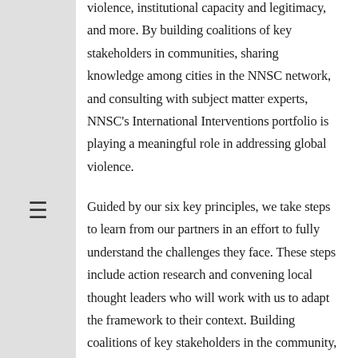violence, institutional capacity and legitimacy, and more. By building coalitions of key stakeholders in communities, sharing knowledge among cities in the NNSC network, and consulting with subject matter experts, NNSC's International Interventions portfolio is playing a meaningful role in addressing global violence.
Guided by our six key principles, we take steps to learn from our partners in an effort to fully understand the challenges they face. These steps include action research and convening local thought leaders who will work with us to adapt the framework to their context. Building coalitions of key stakeholders in the community, knowledge sharing with other cities in our network, and consulting with